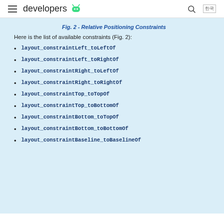developers [android logo]
Fig. 2 - Relative Positioning Constraints
Here is the list of available constraints (Fig. 2):
layout_constraintLeft_toLeftOf
layout_constraintLeft_toRightOf
layout_constraintRight_toLeftOf
layout_constraintRight_toRightOf
layout_constraintTop_toTopOf
layout_constraintTop_toBottomOf
layout_constraintBottom_toTopOf
layout_constraintBottom_toBottomOf
layout_constraintBaseline_toBaselineOf